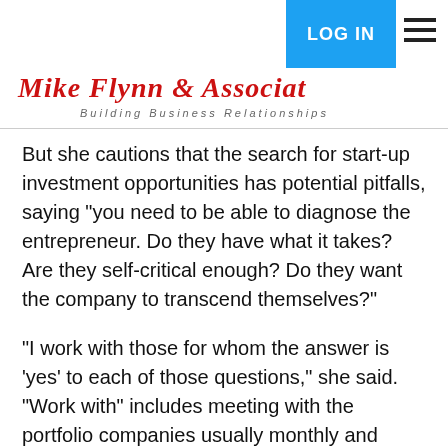Mike Flynn & Associates — Building Business Relationships
But she cautions that the search for start-up investment opportunities has potential pitfalls, saying "you need to be able to diagnose the entrepreneur. Do they have what it takes? Are they self-critical enough? Do they want the company to transcend themselves?"
"I work with those for whom the answer is 'yes' to each of those questions," she said. "Work with" includes meeting with the portfolio companies usually monthly and serving on their boards.